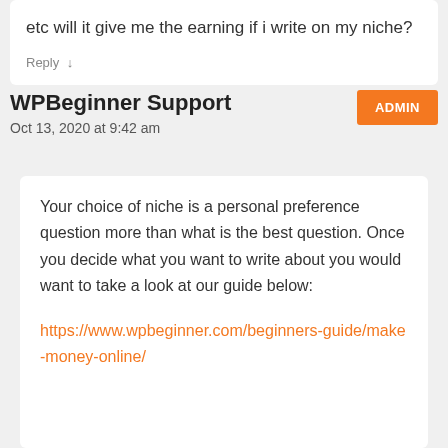etc will it give me the earning if i write on my niche?
Reply
WPBeginner Support
ADMIN
Oct 13, 2020 at 9:42 am
Your choice of niche is a personal preference question more than what is the best question. Once you decide what you want to write about you would want to take a look at our guide below:
https://www.wpbeginner.com/beginners-guide/make-money-online/